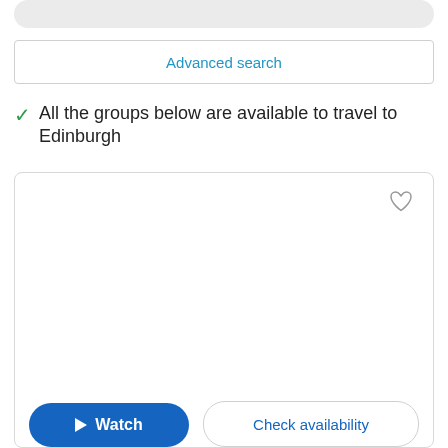Advanced search
All the groups below are available to travel to Edinburgh
[Figure (other): A card UI element with a heart/favorite icon in the top right corner, and two buttons at the bottom: a blue 'Watch' button with a play icon, and a 'Check availability' button with blue text.]